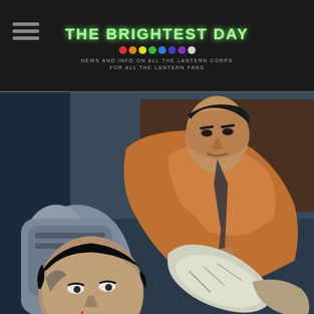THE BRIGHTEST DAY — News and info on all the Lantern Corps for all the Lantern fans
[Figure (illustration): Comic book artwork showing two characters: a muscular man in a brown jacket grabbing a large weapon (gun or device), looming over a dark-haired woman who appears injured or in distress, on what appears to be an airplane interior background.]